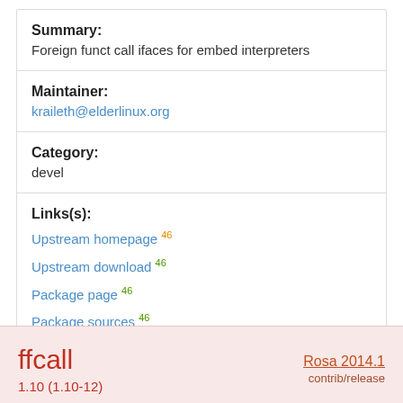| Summary: | Foreign funct call ifaces for embed interpreters |
| Maintainer: | kraileth@elderlinux.org |
| Category: | devel |
| Links(s): | Upstream homepage 46
Upstream download 46
Package page 46
Package sources 46
Package recipe 46
Package recipe (raw) 46
Build log (raw) 46 |
ffcall  1.10 (1.10-12)  Rosa 2014.1  contrib/release